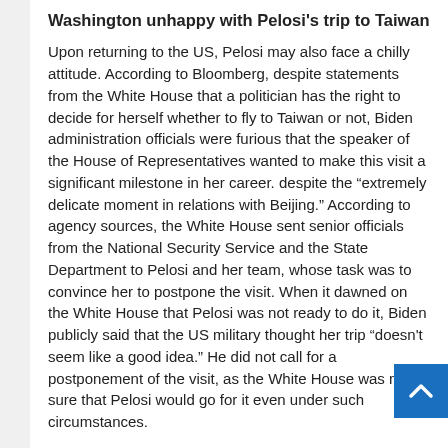Washington unhappy with Pelosi's trip to Taiwan
Upon returning to the US, Pelosi may also face a chilly attitude. According to Bloomberg, despite statements from the White House that a politician has the right to decide for herself whether to fly to Taiwan or not, Biden administration officials were furious that the speaker of the House of Representatives wanted to make this visit a significant milestone in her career. despite the “extremely delicate moment in relations with Beijing.” According to agency sources, the White House sent senior officials from the National Security Service and the State Department to Pelosi and her team, whose task was to convince her to postpone the visit. When it dawned on the White House that Pelosi was not ready to do it, Biden publicly said that the US military thought her trip “doesn't seem like a good idea.” He did not call for a postponement of the visit, as the White House was not sure that Pelosi would go for it even under such circumstances.
Despite disagreements between the White House and Pelosi, it is premature to talk about an internal split, since both Biden and Pelosi belong to the centrist wing of the Democratic Party, says Kortunov.